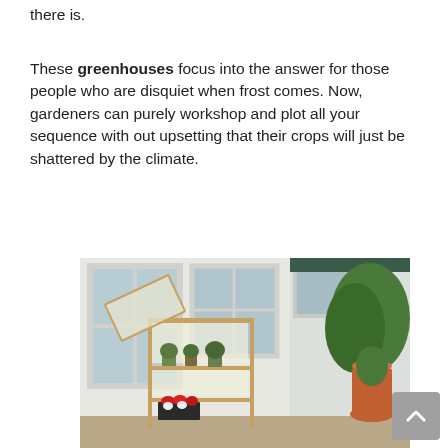there is.
These greenhouses focus into the answer for those people who are disquiet when frost comes. Now, gardeners can purely workshop and plot all your sequence with out upsetting that their crops will just be shattered by the climate.
[Figure (photo): A small wooden greenhouse / cold frame with multiple shelves holding potted plants and red flowering plants in black trays, placed on a porch or deck against a white house exterior with large windows and a large green plant in a terracotta pot visible to the right.]